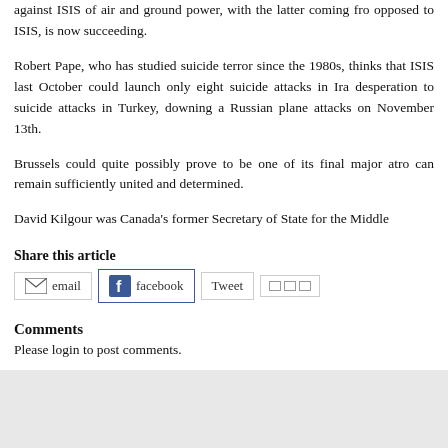against ISIS of air and ground power, with the latter coming from those opposed to ISIS, is now succeeding.
Robert Pape, who has studied suicide terror since the 1980s, thinks that ISIS last October could launch only eight suicide attacks in Ira desperation to suicide attacks in Turkey, downing a Russian plane attacks on November 13th.
Brussels could quite possibly prove to be one of its final major atrocities, if the West can remain sufficiently united and determined.
David Kilgour was Canada's former Secretary of State for the Middle
Share this article
Comments
Please login to post comments.